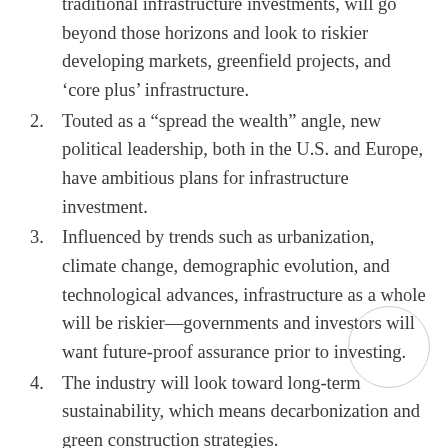traditional infrastructure investments, will go beyond those horizons and look to riskier developing markets, greenfield projects, and ‘core plus’ infrastructure.
2. Touted as a “spread the wealth” angle, new political leadership, both in the U.S. and Europe, have ambitious plans for infrastructure investment.
3. Influenced by trends such as urbanization, climate change, demographic evolution, and technological advances, infrastructure as a whole will be riskier—governments and investors will want future-proof assurance prior to investing.
4. The industry will look toward long-term sustainability, which means decarbonization and green construction strategies.